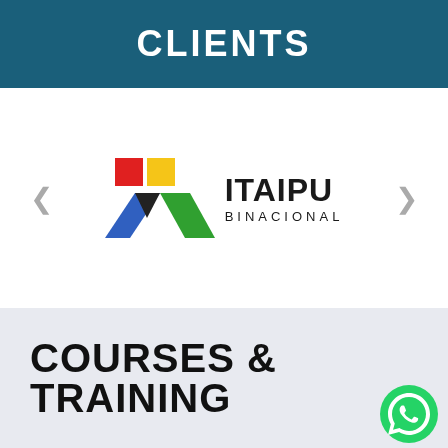CLIENTS
[Figure (logo): Itaipu Binacional logo with colorful geometric shapes (red, yellow, blue, green triangles) and the text ITAIPU BINACIONAL]
COURSES & TRAINING